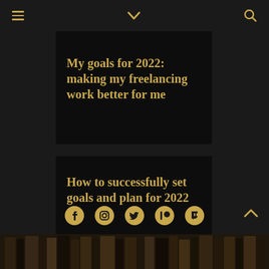Navigation header with hamburger menu, chevron, and search icons
My goals for 2022: making my freelancing work better for me
How to successfully set goals and plan for 2022
[Figure (illustration): Social media icons row: Facebook, Instagram, Twitter, Patreon, Twitch — all in gold color on dark background]
[Figure (photo): Bottom image showing book spines on a shelf, dark warm tones]